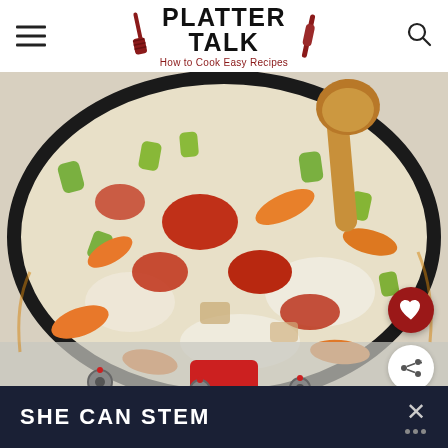PLATTER TALK — How to Cook Easy Recipes
[Figure (photo): Overhead view of a red cast iron pan on a stovetop containing sautéed vegetables including carrots, celery, onions, and tomato paste being stirred with a wooden spoon]
SHE CAN STEM